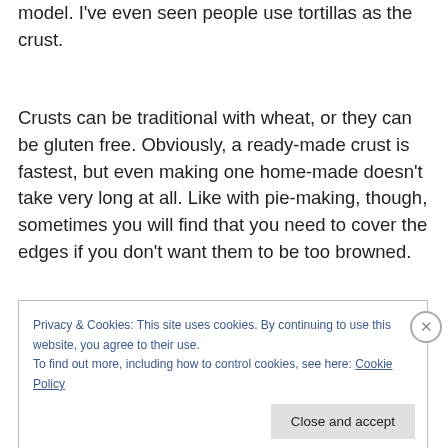model. I've even seen people use tortillas as the crust.
Crusts can be traditional with wheat, or they can be gluten free. Obviously, a ready-made crust is fastest, but even making one home-made doesn't take very long at all. Like with pie-making, though, sometimes you will find that you need to cover the edges if you don't want them to be too browned.
Privacy & Cookies: This site uses cookies. By continuing to use this website, you agree to their use.
To find out more, including how to control cookies, see here: Cookie Policy